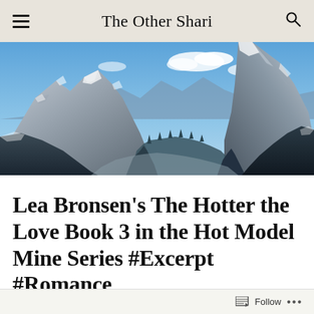The Other Shari
[Figure (photo): A panoramic mountain landscape photograph showing snow-dusted rocky peaks with a blue sky and scattered clouds. A mountain valley opens in the center with forested slopes and distant ridgelines.]
Lea Bronsen's The Hotter the Love Book 3 in the Hot Model Mine Series #Excerpt #Romance
Follow ...